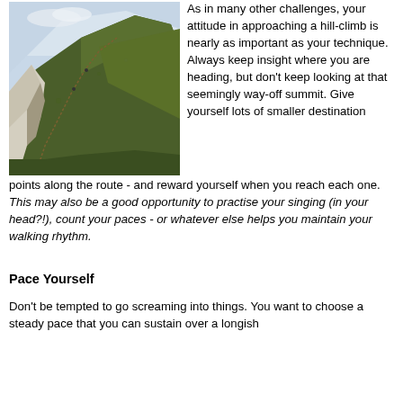[Figure (photo): Photograph of a steep grassy hillside with white chalk cliffs on the left side, under a pale sky. A narrow path is visible going up the slope.]
As in many other challenges, your attitude in approaching a hill-climb is nearly as important as your technique. Always keep insight where you are heading, but don't keep looking at that seemingly way-off summit. Give yourself lots of smaller destination points along the route - and reward yourself when you reach each one. This may also be a good opportunity to practise your singing (in your head?!), count your paces - or whatever else helps you maintain your walking rhythm.
Pace Yourself
Don't be tempted to go screaming into things. You want to choose a steady pace that you can sustain over a longish period. Whatever you do, don't push yourself until the...